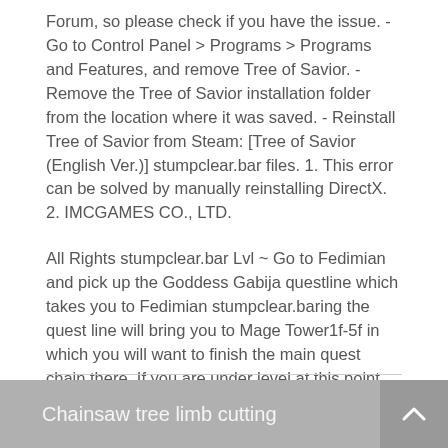Forum, so please check if you have the issue. - Go to Control Panel > Programs > Programs and Features, and remove Tree of Savior. - Remove the Tree of Savior installation folder from the location where it was saved. - Reinstall Tree of Savior from Steam: [Tree of Savior (English Ver.)] stumpclear.bar files. 1. This error can be solved by manually reinstalling DirectX. 2. IMCGAMES CO., LTD.
All Rights stumpclear.bar Lvl ~ Go to Fedimian and pick up the Goddess Gabija questline which takes you to Fedimian stumpclear.baring the quest line will bring you to Mage Tower1f-5f in which you will want to finish the main quest chain there. If you are under level at this point, then feel free to go to Main Building and finish the main quest chains there leading to Sanctuary, or you can do the lvl
Chainsaw tree limb cutting